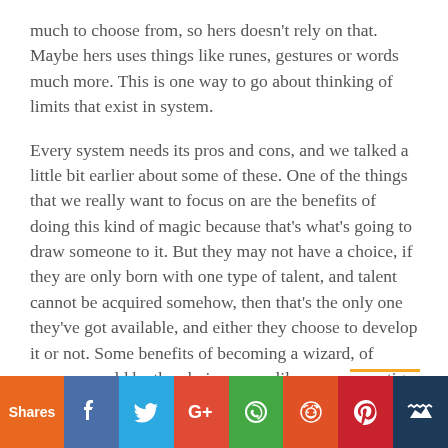much to choose from, so hers doesn't rely on that. Maybe hers uses things like runes, gestures or words much more. This is one way to go about thinking of limits that exist in system.
Every system needs its pros and cons, and we talked a little bit earlier about some of these. One of the things that we really want to focus on are the benefits of doing this kind of magic because that's what's going to draw someone to it. But they may not have a choice, if they are only born with one type of talent, and talent cannot be acquired somehow, then that's the only one they've got available, and either they choose to develop it or not. Some benefits of becoming a wizard, of course, would be the obvious ones like power, prestige, wealth, personal safety and maybe even gaining advantage over other people.
Shares [Facebook] [Twitter] [Google+] [WhatsApp] [Reddit] [Pinterest] [Crown]